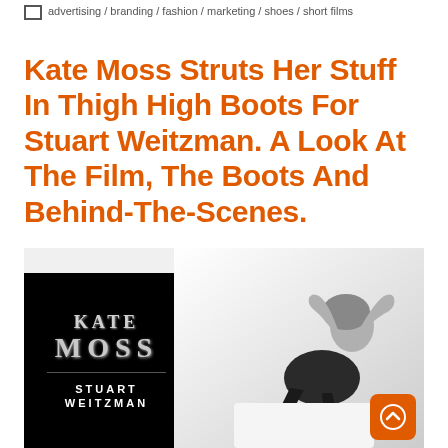advertising / branding / fashion / marketing / shoes / short films
Kate Moss Struts Her Stuff In Thigh High Boots For Stuart Weitzman. A Look At The Film, The Boots And Behind-The-Scenes.
[Figure (photo): Black and white promotional image for Stuart Weitzman featuring Kate Moss. Left half shows a black panel with 'KATE MOSS' in large silver/grey serif letters and 'STUART WEITZMAN' in white below a dividing line. Right half shows a black and white photograph of Kate Moss reclining, wearing thigh-high boots and a dark outfit, with arms raised behind her head. An orange scroll-to-top button appears in the bottom right corner.]